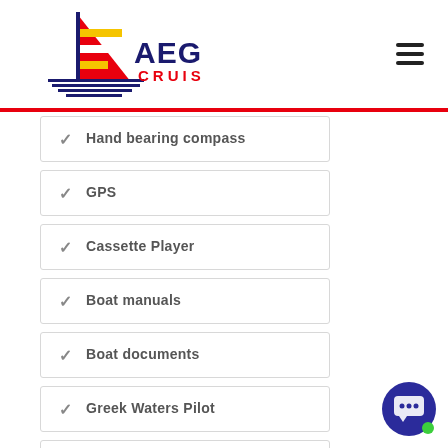[Figure (logo): Aegean Cruises logo with sailboat graphic — sail in red and yellow stripes, hull with blue horizontal lines, text 'AEGEAN CRUISES' in bold navy/red letters]
Hand bearing compass
GPS
Cassette Player
Boat manuals
Boat documents
Greek Waters Pilot
Radio
Toolbox